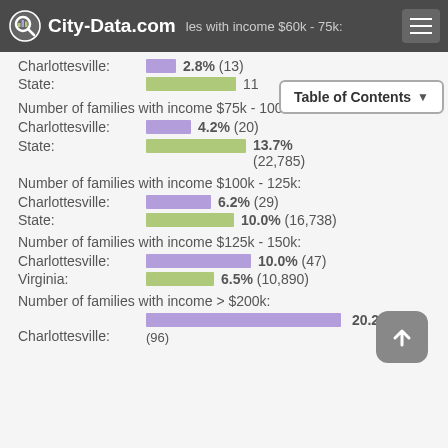City-Data.com — Number of families with income $60k - 75k:
Charlottesville: 2.8% (13)
State: 11.%
Number of families with income $75k - 100k: Charlottesville: 4.2% (20) State: 13.7% (22,785)
Number of families with income $100k - 125k: Charlottesville: 6.2% (29) State: 10.0% (16,738)
Number of families with income $125k - 150k: Charlottesville: 10.0% (47) Virginia: 6.5% (10,890)
Number of families with income > $200k: Charlottesville: 20.2% (96)